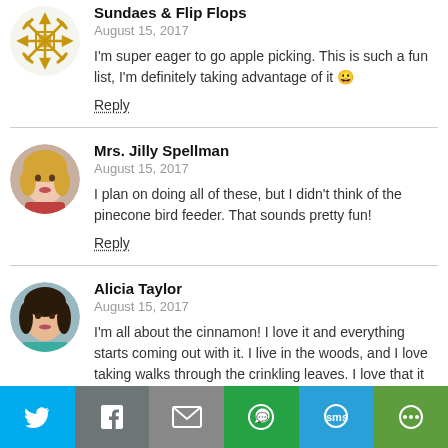Sundaes & Flip Flops
August 15, 2017
I'm super eager to go apple picking. This is such a fun list, I'm definitely taking advantage of it 😀
Reply
Mrs. Jilly Spellman
August 15, 2017
I plan on doing all of these, but I didn't think of the pinecone bird feeder. That sounds pretty fun!
Reply
Alicia Taylor
August 15, 2017
I'm all about the cinnamon! I love it and everything starts coming out with it. I live in the woods, and I love taking walks through the crinkling leaves. I love that it starts cooling off.
[Figure (infographic): Social share bar with Twitter, Facebook, Email, WhatsApp, SMS, and More buttons]